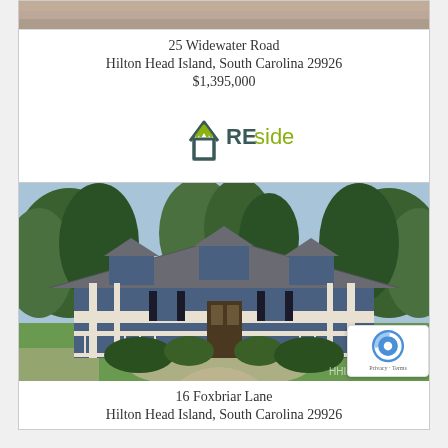[Figure (photo): Partial view of a property photo (cropped at top) showing a house exterior]
25 Widewater Road
Hilton Head Island, South Carolina 29926
$1,395,000
[Figure (logo): REsides real estate logo with house icon and green text]
[Figure (photo): Photo of a large Cape Cod style home with wrap-around porch, surrounded by trees, with circular driveway]
16 Foxbriar Lane
Hilton Head Island, South Carolina 29926